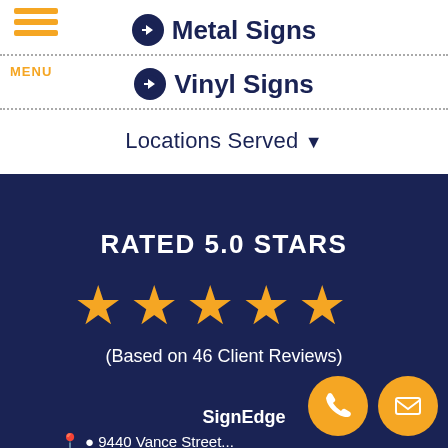Metal Signs
Vinyl Signs
Locations Served
RATED 5.0 STARS
(Based on 46 Client Reviews)
SignEdge